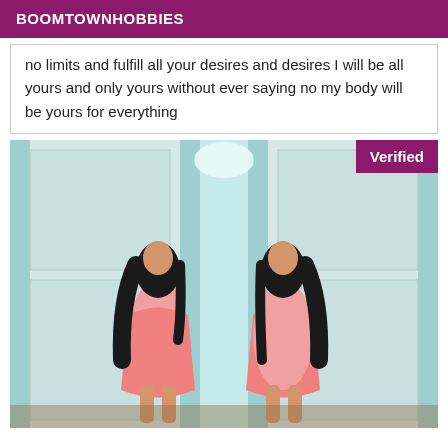BOOMTOWNHOBBIES
no limits and fulfill all your desires and desires I will be all yours and only yours without ever saying no my body will be yours for everything
[Figure (photo): A woman wearing a pink dress posing in front of a mirrored closet door, creating a mirror reflection. A 'Verified' badge appears in the top right corner.]